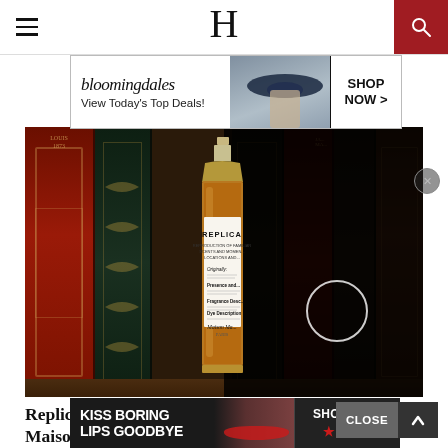H (logo) — Hamburger menu and Search
[Figure (photo): Advertisement banner: Bloomingdale's 'View Today's Top Deals!' with model in blue hat and SHOP NOW button]
[Figure (photo): Main editorial photo: Maison Margiela REPLICA 'Whispers in the Library' perfume bottle standing among antique leather-bound books on a shelf. Right half of photo is dark with a circular loading spinner.]
Replica Whispers in the Library by Maison Margiela Review
[Figure (photo): Advertisement banner: 'KISS BORING LIPS GOODBYE' with SHOP NOW and Macy's star logo]